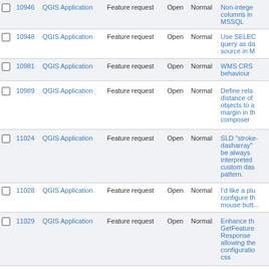|  | # | Application | Type | Status | Priority | Description |
| --- | --- | --- | --- | --- | --- | --- |
|  | 10946 | QGIS Application | Feature request | Open | Normal | Non-integer columns in MSSQL |
|  | 10948 | QGIS Application | Feature request | Open | Normal | Use SELECT query as data source in M |
|  | 10981 | QGIS Application | Feature request | Open | Normal | WMS CRS behaviour |
|  | 10989 | QGIS Application | Feature request | Open | Normal | Define relative distance of objects to a margin in the composer |
|  | 11024 | QGIS Application | Feature request | Open | Normal | SLD "stroke-dasharray" to be always interpreted as custom dash pattern. |
|  | 11028 | QGIS Application | Feature request | Open | Normal | I'd like a plugin to configure the mouse butt... |
|  | 11029 | QGIS Application | Feature request | Open | Normal | Enhance the GetFeatureResponse allowing the configuration css |
|  | 11042 | QGIS Application | Feature request | Open | Normal | Add option to randomly assign colors from specified color ramp |